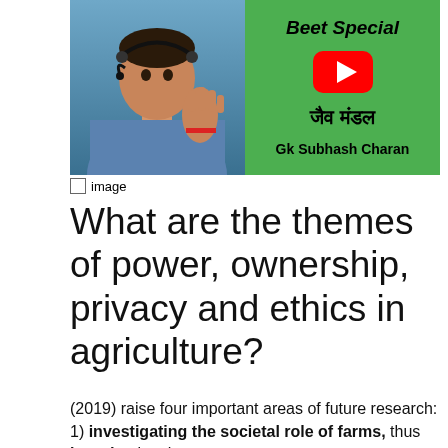[Figure (screenshot): YouTube thumbnail with a man wearing a headset on green background, YouTube play button logo, Hindi text 'जैव मंडल', and text 'Beet Special' and 'Gk Subhash Charan']
image
What are the themes of power, ownership, privacy and ethics in agriculture?
(2019) raise four important areas of future research: 1) investigating the societal role of farms, thus broaden ing the